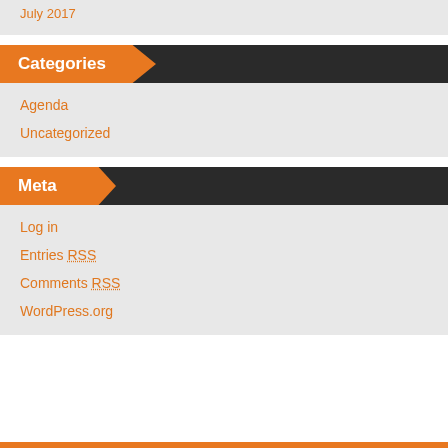July 2017
Categories
Agenda
Uncategorized
Meta
Log in
Entries RSS
Comments RSS
WordPress.org